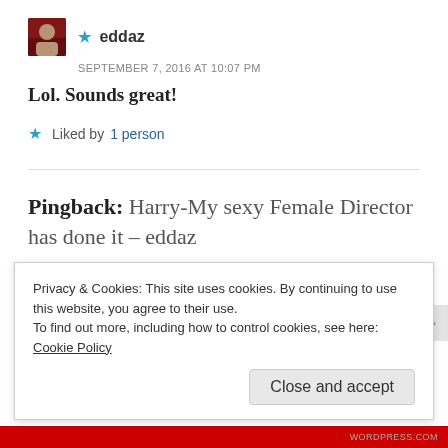★ eddaz
SEPTEMBER 7, 2016 AT 10:07 PM
Lol. Sounds great!
★ Liked by 1 person
Pingback: Harry-My sexy Female Director has done it – eddaz
Privacy & Cookies: This site uses cookies. By continuing to use this website, you agree to their use.
To find out more, including how to control cookies, see here:
Cookie Policy
Close and accept